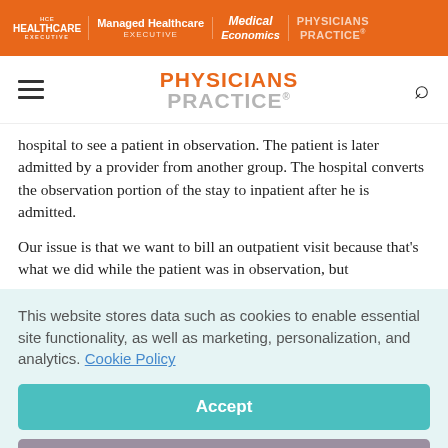HCE HEALTHCARE EXECUTIVE | Managed Healthcare EXECUTIVE | Medical Economics | PHYSICIANS PRACTICE
[Figure (logo): Physicians Practice logo with orange PHYSICIANS text and gray PRACTICE text]
hospital to see a patient in observation. The patient is later admitted by a provider from another group. The hospital converts the observation portion of the stay to inpatient after he is admitted.
Our issue is that we want to bill an outpatient visit because that's what we did while the patient was in observation, but
This website stores data such as cookies to enable essential site functionality, as well as marketing, personalization, and analytics. Cookie Policy
Accept
Deny